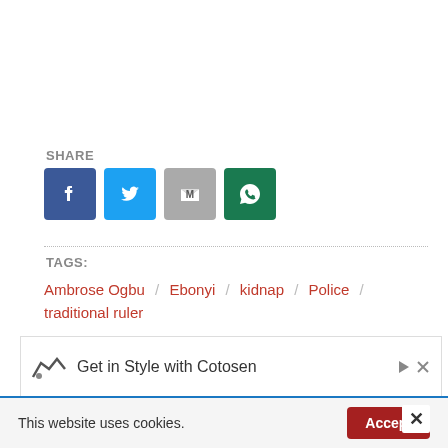SHARE
[Figure (infographic): Social share buttons: Facebook (blue), Twitter (light blue), Gmail (gray), WhatsApp (green)]
TAGS:
Ambrose Ogbu / Ebonyi / kidnap / Police / traditional ruler
RELATED POST
[Figure (photo): Partial photo of a person, blurred, with dark background]
[Figure (infographic): Advertisement banner: Get in Style with Cotosen]
This website uses cookies.
Accept